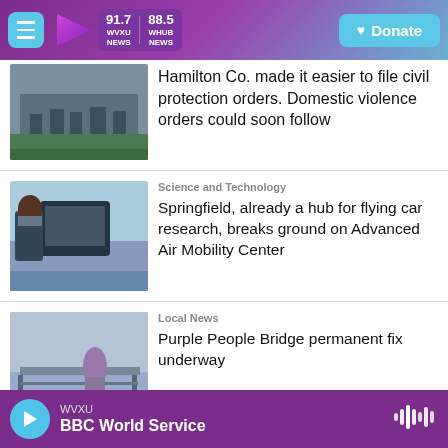WVXU NEWS 91.7 | WHUB NEWS 88.5 | Donate
[Figure (photo): Photo of a government or civic building exterior]
Hamilton Co. made it easier to file civil protection orders. Domestic violence orders could soon follow
[Figure (photo): Person in a flying car simulator or aerial vehicle with city view below]
Science and Technology
Springfield, already a hub for flying car research, breaks ground on Advanced Air Mobility Center
[Figure (photo): Person on Purple People Bridge looking out over foggy river]
Local News
Purple People Bridge permanent fix underway
WVXU BBC World Service